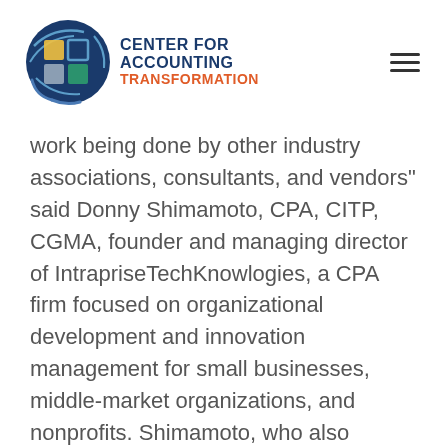[Figure (logo): Center for Accounting Transformation logo with circular globe-like emblem and text]
work being done by other industry associations, consultants, and vendors" said Donny Shimamoto, CPA, CITP, CGMA, founder and managing director of IntrapriseTechKnowlogies, a CPA firm focused on organizational development and innovation management for small businesses, middle-market organizations, and nonprofits. Shimamoto, who also formed the Center, added, “As an organization that prides itself on embracing transformation, the Center has advisory boards with